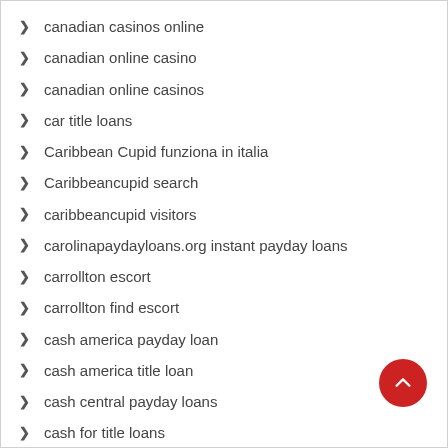canadian casinos online
canadian online casino
canadian online casinos
car title loans
Caribbean Cupid funziona in italia
Caribbeancupid search
caribbeancupid visitors
carolinapaydayloans.org instant payday loans
carrollton escort
carrollton find escort
cash america payday loan
cash america title loan
cash central payday loans
cash for title loans
cash installment loans